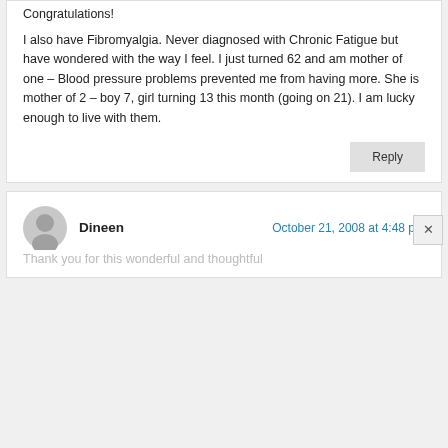Congratulations!
I also have Fibromyalgia. Never diagnosed with Chronic Fatigue but have wondered with the way I feel. I just turned 62 and am mother of one – Blood pressure problems prevented me from having more. She is mother of 2 – boy 7, girl turning 13 this month (going on 21). I am lucky enough to live with them.
Dineen
October 21, 2008 at 4:48 pm
Thank you for this wonderful and thoughtful